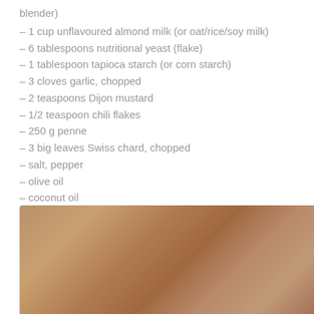blender)
– 1 cup unflavoured almond milk (or oat/rice/soy milk)
– 6 tablespoons nutritional yeast (flake)
– 1 tablespoon tapioca starch (or corn starch)
– 3 cloves garlic, chopped
– 2 teaspoons Dijon mustard
– 1/2 teaspoon chili flakes
– 250 g penne
– 3 big leaves Swiss chard, chopped
– salt, pepper
– olive oil
– coconut oil
[Figure (photo): A blurred close-up photo of food on a wooden surface, warm brown tones]